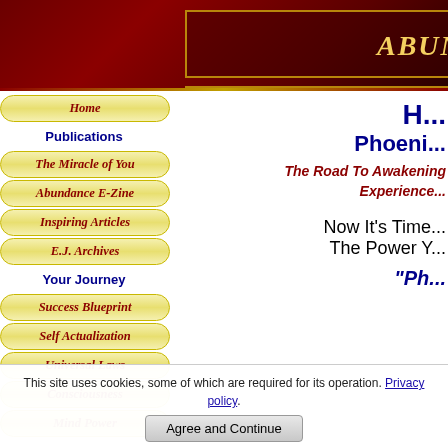ABUNDANCE-AND-H...
Home
Publications
The Miracle of You
Abundance E-Zine
Inspiring Articles
E.J. Archives
Your Journey
Success Blueprint
Self Actualization
Universal Laws
Consciousness
Mind Power
H... Phoeni...
The Road To Awakening Experience...
Now It's Time The Power Y...
"Ph...
This site uses cookies, some of which are required for its operation. Privacy policy
Agree and Continue